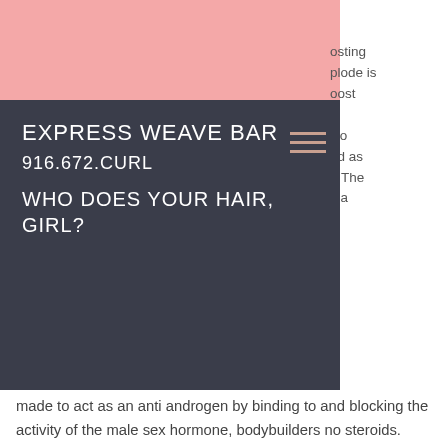[Figure (screenshot): Pink decorative bar at top left of page, background color block]
EXPRESS WEAVE BAR
916.672.CURL
WHO DOES YOUR HAIR, GIRL?
osting
plode is
oost
a
wo
ed as
t. The
s a
is
made to act as an anti androgen by binding to and blocking the activity of the male sex hormone, bodybuilders no steroids.
A few interesting things about Testo Xplode, anabolic steroids for sprinters. First, it is available in two strengths, 3ml and 2ml, which is not so strange for an all-natural testosterone booster, steroids uk next day delivery. Also available in a 2ml package is an additional injection called Testo XT, which has a similar effect but is not marketed as a